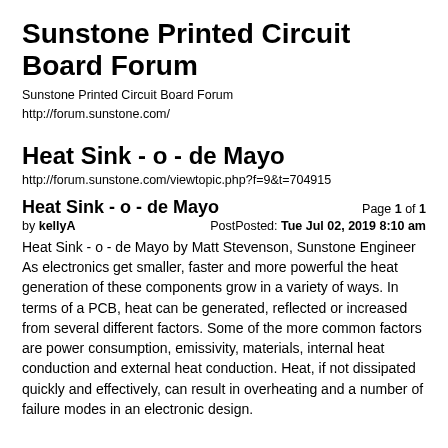Sunstone Printed Circuit Board Forum
Sunstone Printed Circuit Board Forum
http://forum.sunstone.com/
Heat Sink - o - de Mayo
http://forum.sunstone.com/viewtopic.php?f=9&t=704915
Heat Sink - o - de Mayo
Page 1 of 1
by kellyA
PostPosted: Tue Jul 02, 2019 8:10 am
Heat Sink - o - de Mayo by Matt Stevenson, Sunstone Engineer

As electronics get smaller, faster and more powerful the heat generation of these components grow in a variety of ways. In terms of a PCB, heat can be generated, reflected or increased from several different factors. Some of the more common factors are power consumption, emissivity, materials, internal heat conduction and external heat conduction. Heat, if not dissipated quickly and effectively, can result in overheating and a number of failure modes in an electronic design.